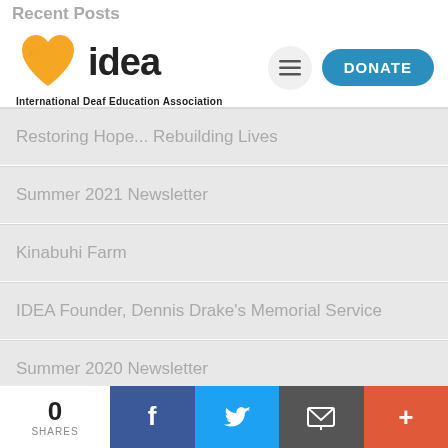Recent Posts
[Figure (logo): IDEA - International Deaf Education Association logo with orange heart and bold 'idea' text]
June 2022 Newsletter
Care House for Typhoon Odette Victims
Restoring Hope... Rebuilding Lives
Summer 2021 Newsletter
Kinabuhi Farm
IDEA Founder, Dennis Drake's Memorial Service
Summer 2020 Newsletter
Donate Your Old Tablet to IDEA